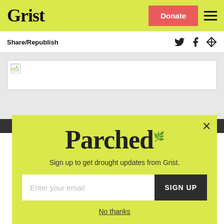Grist | Donate | [menu]
Share/Republish
[Figure (screenshot): Broken image placeholder in a grey content area]
[Figure (infographic): Parched newsletter signup popup with lime-green background, close button (X), 'Parched' title in large serif font, subtitle 'Sign up to get drought updates from Grist.', email input field and SIGN UP button, and 'No thanks' link.]
Sign up to get drought updates from Grist.
No thanks